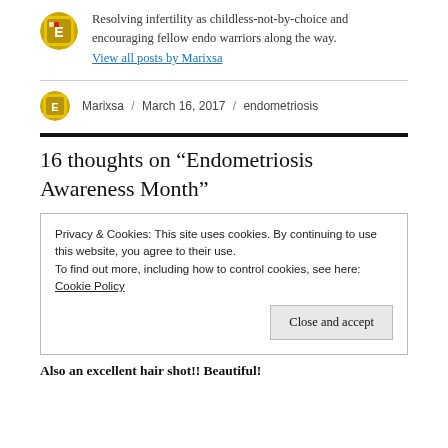Resolving infertility as childless-not-by-choice and encouraging fellow endo warriors along the way.
View all posts by Marixsa
Marixsa / March 16, 2017 / endometriosis
16 thoughts on “Endometriosis Awareness Month”
Privacy & Cookies: This site uses cookies. By continuing to use this website, you agree to their use.
To find out more, including how to control cookies, see here: Cookie Policy
Also an excellent hair shot!! Beautiful!